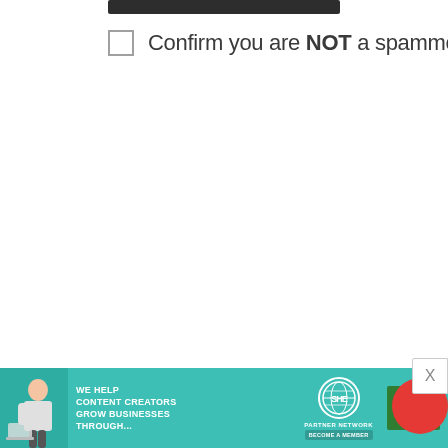[Figure (screenshot): Dark filled input/button bar at top of a web form]
Confirm you are NOT a spammer
[Figure (infographic): Advertisement banner: WE HELP CONTENT CREATORS GROW BUSINESSES THROUGH... with SHE PARTNER NETWORK logo and LEARN MORE button on teal background]